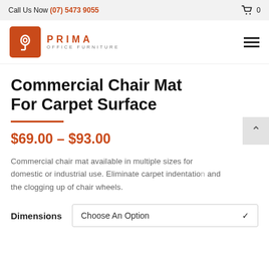Call Us Now (07) 5473 9055   🛒 0
[Figure (logo): Prima Office Furniture logo — red square with stylized P icon, text PRIMA OFFICE FURNITURE]
Commercial Chair Mat For Carpet Surface
$69.00 – $93.00
Commercial chair mat available in multiple sizes for domestic or industrial use. Eliminate carpet indentation and the clogging up of chair wheels.
Dimensions   Choose An Option